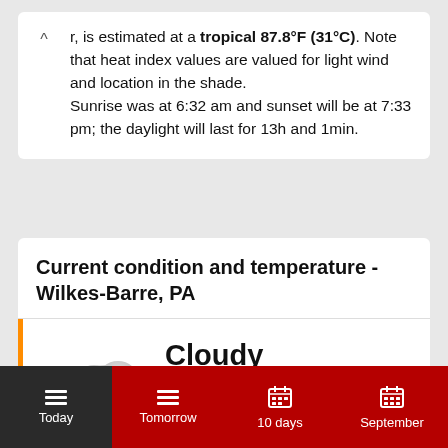r, is estimated at a tropical 87.8°F (31°C). Note that heat index values are valued for light wind and location in the shade. Sunrise was at 6:32 am and sunset will be at 7:33 pm; the daylight will last for 13h and 1min.
Current condition and temperature - Wilkes-Barre, PA
[Figure (illustration): Cloudy weather icon showing two overlapping grey clouds]
Cloudy
72°F
Feels like: 72°F
Today  Tomorrow  10 days  September